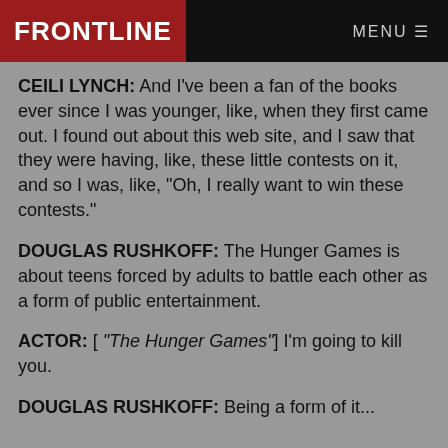FRONTLINE | MENU
CEILI LYNCH: And I've been a fan of the books ever since I was younger, like, when they first came out. I found out about this web site, and I saw that they were having, like, these little contests on it, and so I was, like, "Oh, I really want to win these contests."
DOUGLAS RUSHKOFF: The Hunger Games is about teens forced by adults to battle each other as a form of public entertainment.
ACTOR: [ "The Hunger Games"] I'm going to kill you.
DOUGLAS RUSHKOFF: Being a form of it...